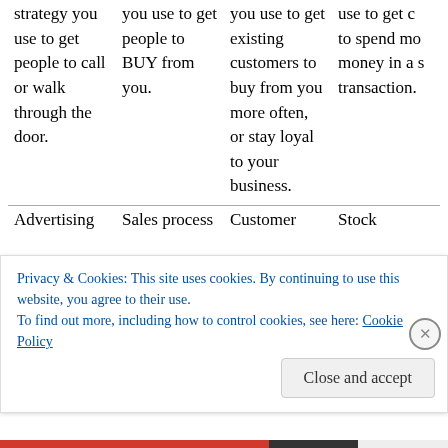strategy you use to get people to call or walk through the door. | you use to get people to BUY from you. | you use to get existing customers to buy from you more often, or stay loyal to your business. | use to get customers to spend more money in a single transaction.
Advertising | Sales process | Customer | Stock
Privacy & Cookies: This site uses cookies. By continuing to use this website, you agree to their use. To find out more, including how to control cookies, see here: Cookie Policy
Close and accept